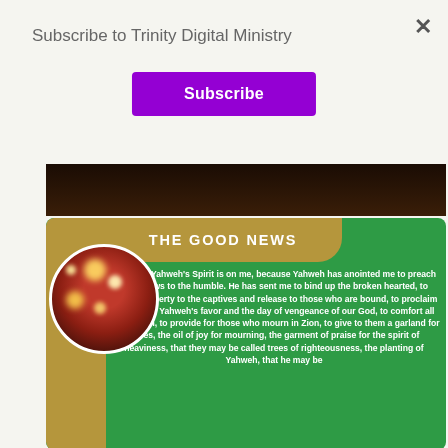Subscribe to Trinity Digital Ministry
[Figure (other): Purple Subscribe button]
[Figure (photo): Dark background image strip (partial, top cropped)]
[Figure (infographic): Green card with gold accents, circular photo of Christmas ornament with bokeh lights, gold tab header reading THE GOOD NEWS, and white bold scripture text from Isaiah 61]
The Lord Yahweh's Spirit is on me, because Yahweh has anointed me to preach good news to the humble. He has sent me to bind up the broken hearted, to proclaim liberty to the captives and release to those who are bound, to proclaim the year of Yahweh's favor and the day of vengeance of our God, to comfort all who mourn, to provide for those who mourn in Zion, to give to them a garland for ashes, the oil of joy for mourning, the garment of praise for the spirit of heaviness, that they may be called trees of righteousness, the planting of Yahweh, that he may be